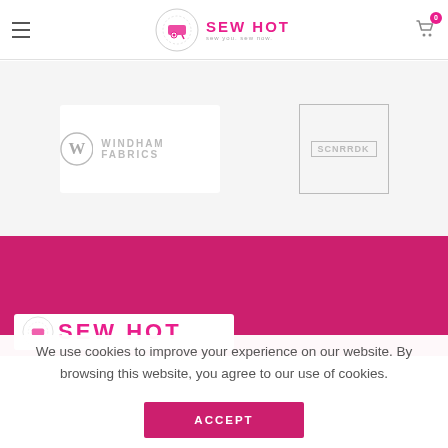Sew Hot - sew you. sew now. (navigation header with hamburger menu and cart icon)
[Figure (logo): Windham Fabrics logo - circular W monogram with 'WINDHAM FABRICS' text]
[Figure (logo): Scnrrdk logo inside a rectangular border]
[Figure (screenshot): Pink/magenta banner section with partial Sew Hot logo visible at bottom]
We use cookies to improve your experience on our website. By browsing this website, you agree to our use of cookies.